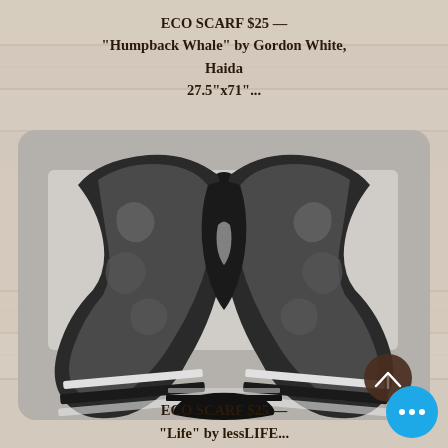ECO SCARF $25 — "Humpback Whale" by Gordon White, Haida 27.5"x71"...
[Figure (photo): A black and grey patterned eco scarf draped on a mannequin stand, featuring Haida art design with whale motifs, swirling patterns in black, grey and white, displayed against a light background inside a rounded rectangle frame.]
ECO SCARF $25 — "Life" by lessLIFE...